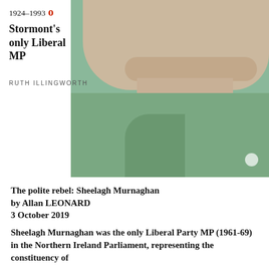[Figure (photo): Black and white photograph of Sheelagh Murnaghan, showing her face and upper body wearing a green/teal textured jacket, smiling]
1924–1993
Stormont's only Liberal MP
RUTH ILLINGWORTH
The polite rebel: Sheelagh Murnaghan by Allan LEONARD 3 October 2019
Sheelagh Murnaghan was the only Liberal Party MP (1961-69) in the Northern Ireland Parliament, representing the constituency of